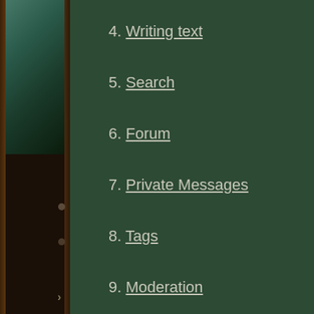4. Writing text
5. Search
6. Forum
7. Private Messages
8. Tags
9. Moderation
Under Edit P... comfortable ... communicati...
2.4. Ava...
The avatar is... recognize yo... personal ima...
2.5. Use...
Users are la... image. There... after 900 poi...
2.6. Frie...
You can add... ways to do t...